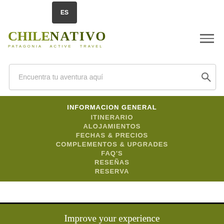[Figure (logo): ChileNativo - Patagonia Active Travel logo with language selector (ES) and hamburger menu]
Encuentra tu aventura aquí
INFORMACION GENERAL
ITINERARIO
ALOJAMIENTOS
FECHAS & PRECIOS
COMPLEMENTOS & UPGRADES
FAQ'S
RESEÑAS
RESERVA
[Figure (screenshot): Black banner area with gold badge showing 'Turistica' and red button showing 'Chile !']
Improve your experience
This website uses cookies to improve your experience. We'll assume you're ok with this, but you can opt-out if you wish.
Cookie settings   ACCEPT